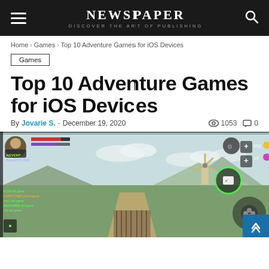NEWSPAPER — DISCOVER THE ART OF PUBLISHING
Home › Games › Top 10 Adventure Games for iOS Devices
Games
Top 10 Adventure Games for iOS Devices
By Jovarie S. - December 19, 2020  👁 1053  💬 0
[Figure (screenshot): Screenshot of a mobile adventure game displayed on a smartphone, showing a 3D open-world landscape with a windmill, mountains, and a bridge, along with game UI elements.]